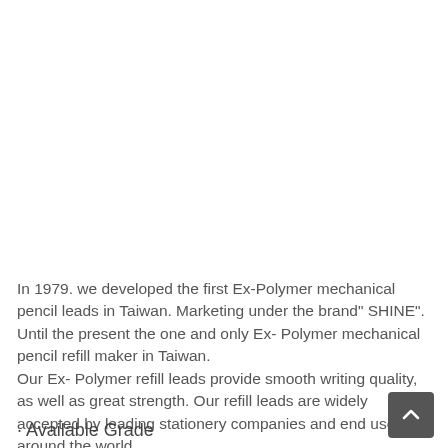In 1979. we developed the first Ex-Polymer mechanical pencil leads in Taiwan. Marketing under the brand" SHINE". Until the present the one and only Ex- Polymer mechanical pencil refill maker in Taiwan.
Our Ex- Polymer refill leads provide smooth writing quality, as well as great strength. Our refill leads are widely accepted by leading stationery companies and end users around the world.
· Available Grade